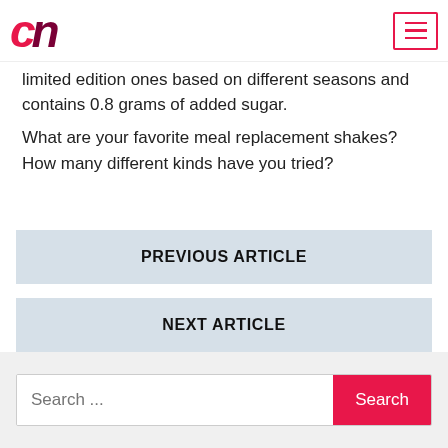cn
limited edition ones based on different seasons  and contains 0.8 grams of added sugar.
What are your favorite meal replacement shakes? How many different kinds have you tried?
PREVIOUS ARTICLE
NEXT ARTICLE
Search ...